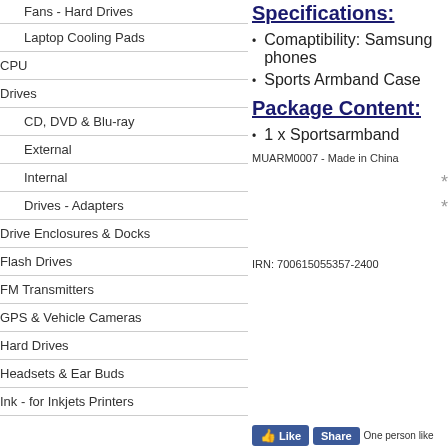Fans - Hard Drives
Laptop Cooling Pads
CPU
Drives
CD, DVD & Blu-ray
External
Internal
Drives - Adapters
Drive Enclosures & Docks
Flash Drives
FM Transmitters
GPS & Vehicle Cameras
Hard Drives
Headsets & Ear Buds
Ink - for Inkjets Printers
Specifications:
Comaptibility: Samsung phones
Sports Armband Case
Package Content:
1 x Sportsarmband
MUARM0007 - Made in China
IRN: 700615055357-2400